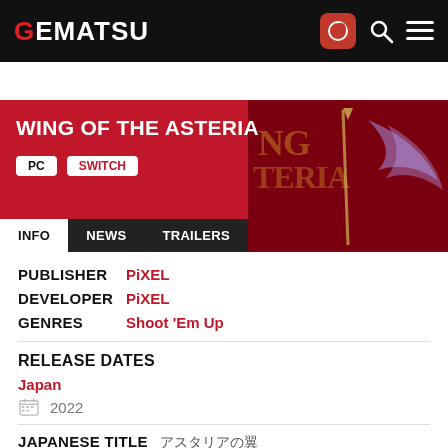GEMATSU
[Figure (screenshot): Wing of the Asteria game banner with red gradient background and fantasy game logo art on the right]
WING OF THE ASTERIA
PC  SWITCH
INFO  NEWS  TRAILERS
PUBLISHER  PiXEL
DEVELOPER  PiXEL
GENRES  Shoot 'Em Up
RELEASE DATES
Japan
2022
JAPANESE TITLE  アスタリアの翼